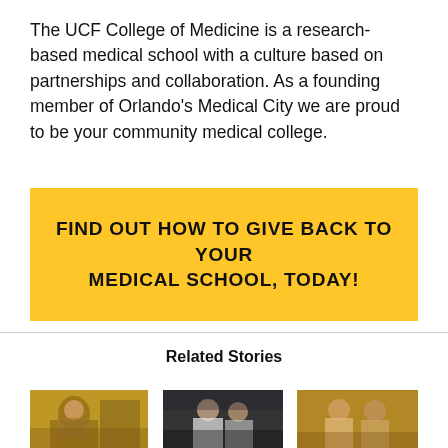The UCF College of Medicine is a research-based medical school with a culture based on partnerships and collaboration. As a founding member of Orlando's Medical City we are proud to be your community medical college.
FIND OUT HOW TO GIVE BACK TO YOUR MEDICAL SCHOOL, TODAY!
Related Stories
[Figure (photo): A researcher or scientist wearing blue gloves working in a lab, viewed close-up]
[Figure (photo): Two people smiling at an event, one in a white shirt]
[Figure (photo): Two women smiling together at what appears to be a formal event or gala]